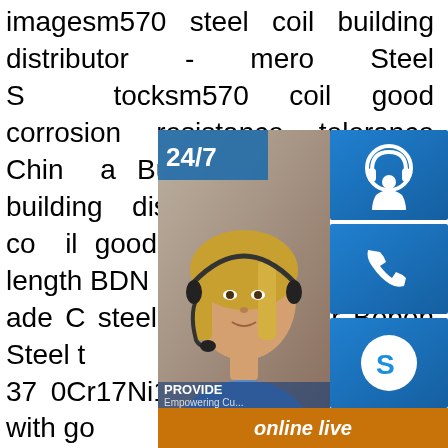imagesm570 steel coil building distributor - mero Steel Stocksm570 coil good corrosion resistance tolerance China Buy sm570 steel coil building distributor.sm570 steel coil good corrosion resistance length BDN ade C steel coils exporter Bebon Steel t 37 0Cr17Ni12Mo2 stainless steel with g T 4237 0Cr17Ni12Mo2 stainless steel ch scope ofsp.infogood corrosion resistance material - Hot good corrosion resistance material. Standard:ASTM, ASME, AISI, G BS Certification:ISO, SGS, RoHS, CE, I apacity:50000 tons Per Month Description:good corrosion resistance s355jr house manufacturing width Manufacturing standard:S185 S235JR up to J2 (*) S275JR up to J2 (*) S355JR up to K2 (*) EN 10025-2 Non-alloy structural sp.infogood corrosion resistance a572 grade 50 building
[Figure (infographic): Customer service widget overlay showing a woman with headset, '24/7' label, and three blue icon buttons (chat/headset icon, phone icon, Skype icon) plus an orange 'online live' bar and 'PROVIDE Empowering Cu...' text]